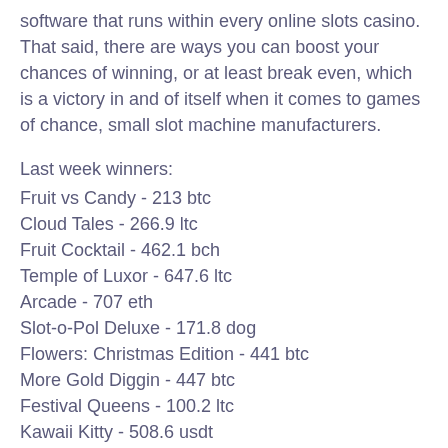software that runs within every online slots casino. That said, there are ways you can boost your chances of winning, or at least break even, which is a victory in and of itself when it comes to games of chance, small slot machine manufacturers.
Last week winners:
Fruit vs Candy - 213 btc
Cloud Tales - 266.9 ltc
Fruit Cocktail - 462.1 bch
Temple of Luxor - 647.6 ltc
Arcade - 707 eth
Slot-o-Pol Deluxe - 171.8 dog
Flowers: Christmas Edition - 441 btc
More Gold Diggin - 447 btc
Festival Queens - 100.2 ltc
Kawaii Kitty - 508.6 usdt
Riches from the Deep - 232.1 dog
Mighty Rex - 643.8 btc
A Christmas Carol - 354.1 btc